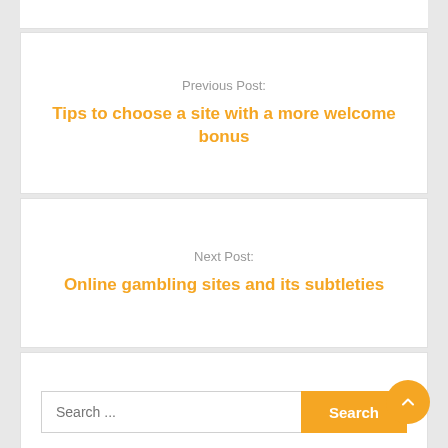Previous Post:
Tips to choose a site with a more welcome bonus
Next Post:
Online gambling sites and its subtleties
Search ...
Recent Posts